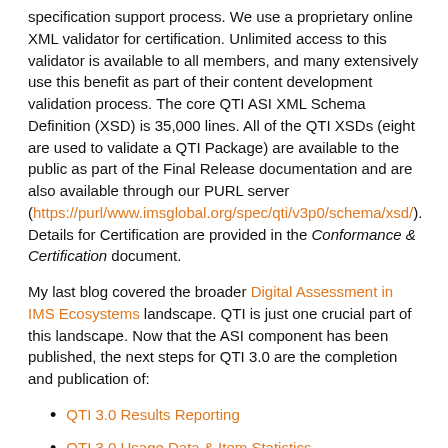specification support process. We use a proprietary online XML validator for certification. Unlimited access to this validator is available to all members, and many extensively use this benefit as part of their content development validation process. The core QTI ASI XML Schema Definition (XSD) is 35,000 lines. All of the QTI XSDs (eight are used to validate a QTI Package) are available to the public as part of the Final Release documentation and are also available through our PURL server (https://purl.www.imsglobal.org/spec/qti/v3p0/schema/xsd/). Details for Certification are provided in the Conformance & Certification document.
My last blog covered the broader Digital Assessment in IMS Ecosystems landscape. QTI is just one crucial part of this landscape. Now that the ASI component has been published, the next steps for QTI 3.0 are the completion and publication of:
QTI 3.0 Results Reporting
QTI 3.0 Usage Data & Item Statistics